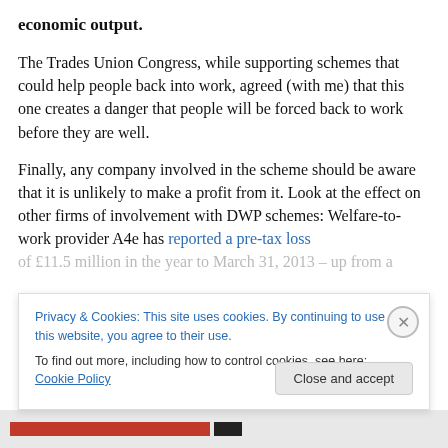economic output.
The Trades Union Congress, while supporting schemes that could help people back into work, agreed (with me) that this one creates a danger that people will be forced back to work before they are well.
Finally, any company involved in the scheme should be aware that it is unlikely to make a profit from it. Look at the effect on other firms of involvement with DWP schemes: Welfare-to-work provider A4e has reported a pre-tax loss of £11.5 million in the year to March 31, 2013 – up from a
Privacy & Cookies: This site uses cookies. By continuing to use this website, you agree to their use. To find out more, including how to control cookies, see here: Cookie Policy